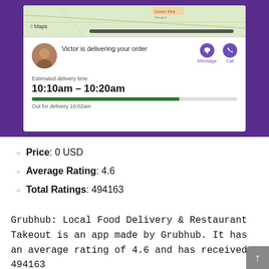[Figure (screenshot): Grubhub app screenshot showing a map with Apple Maps, a delivery driver named Victor with message and call options, estimated delivery time of 10:10am - 10:20am, a green progress bar, and 'Out for delivery 10:02am' status.]
Price: 0 USD
Average Rating: 4.6
Total Ratings: 494163
Grubhub: Local Food Delivery & Restaurant Takeout is an app made by Grubhub. It has an average rating of 4.6 and has received 494163